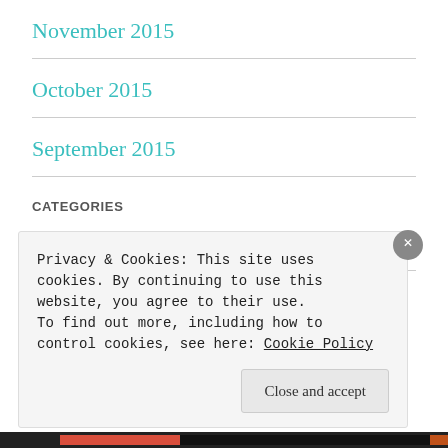November 2015
October 2015
September 2015
CATEGORIES
Books
Privacy & Cookies: This site uses cookies. By continuing to use this website, you agree to their use.
To find out more, including how to control cookies, see here: Cookie Policy